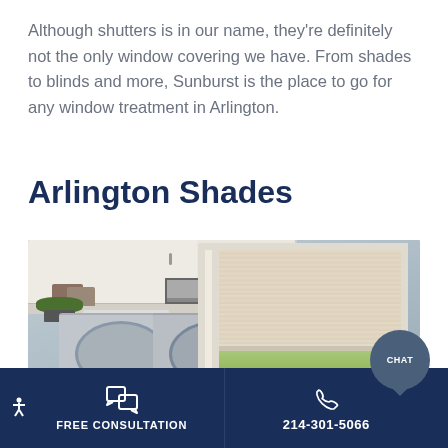Although shutters is in our name, they're definitely not the only window covering we have. From shades to blinds and more, Sunburst is the place to go for any window treatment in Arlington.
Arlington Shades
[Figure (photo): A laundry room with white cabinets, stainless washer/dryer, and a window fitted with a neutral cellular/honeycomb shade. A plant sits on the counter.]
FREE CONSULTATION
214-301-5066